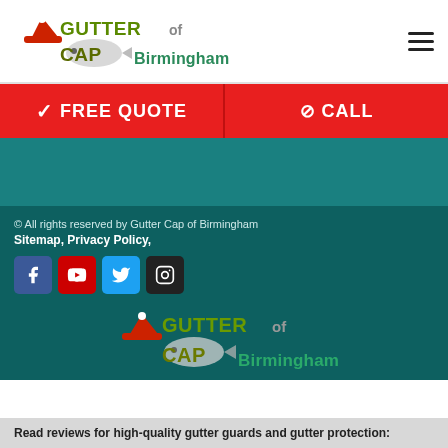[Figure (logo): Gutter Cap of Birmingham logo with red cap icon and fish illustration]
[Figure (infographic): Hamburger/menu icon (three horizontal lines)]
✓ FREE QUOTE
⊘ CALL
© All rights reserved by Gutter Cap of Birmingham
Sitemap, Privacy Policy,
[Figure (infographic): Social media icons: Facebook, YouTube, Twitter, Instagram]
[Figure (logo): Gutter Cap of Birmingham logo repeated in footer]
Read reviews for high-quality gutter guards and gutter protection: